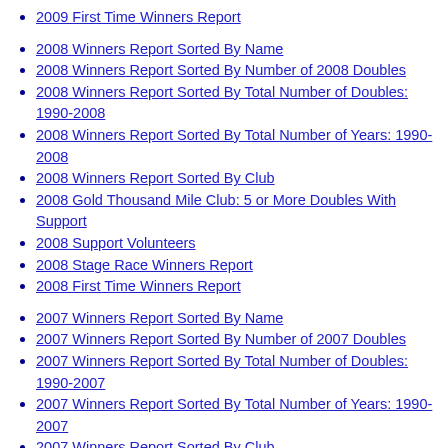2009 First Time Winners Report
2008 Winners Report Sorted By Name
2008 Winners Report Sorted By Number of 2008 Doubles
2008 Winners Report Sorted By Total Number of Doubles: 1990-2008
2008 Winners Report Sorted By Total Number of Years: 1990-2008
2008 Winners Report Sorted By Club
2008 Gold Thousand Mile Club: 5 or More Doubles With Support
2008 Support Volunteers
2008 Stage Race Winners Report
2008 First Time Winners Report
2007 Winners Report Sorted By Name
2007 Winners Report Sorted By Number of 2007 Doubles
2007 Winners Report Sorted By Total Number of Doubles: 1990-2007
2007 Winners Report Sorted By Total Number of Years: 1990-2007
2007 Winners Report Sorted By Club
2007 Gold Thousand Mile Club: 5 or More Doubles